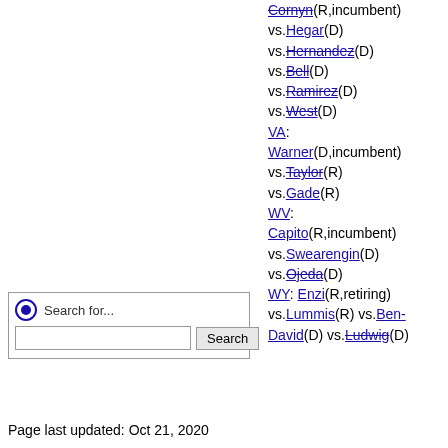Cornyn(R,incumbent) vs.Hegar(D) vs.Hernandez(D) vs.Bell(D) vs.Ramirez(D) vs.West(D) VA: Warner(D,incumbent) vs.Taylor(R) vs.Gade(R) WV: Capito(R,incumbent) vs.Swearengin(D) vs.Ojeda(D) WY: Enzi(R,retiring) vs.Lummis(R) vs.Ben-David(D) vs.Ludwig(D)
[Figure (other): Search box widget with radio button and Search button]
Page last updated: Oct 21, 2020